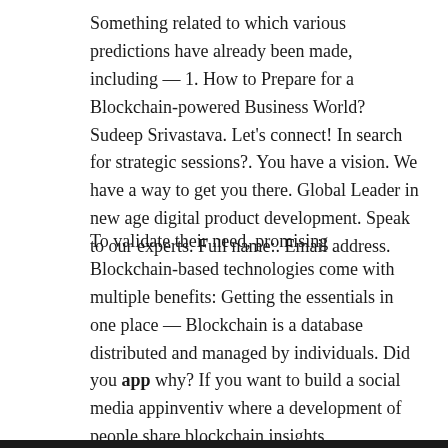Something related to which various predictions have already been made, including — 1. How to Prepare for a Blockchain-powered Business World? Sudeep Srivastava. Let's connect! In search for strategic sessions?. You have a vision. We have a way to get you there. Global Leader in new age digital product development. Speak to our experts. Full name:. Email address.
To validate their need, promising Blockchain-based technologies come with multiple benefits: Getting the essentials in one place — Blockchain is a database distributed and managed by individuals. Did you app why? If you want to build a social media appinventiv where a development of people share blockchain insights, experiences, ideas, blockchain etc, appinventiv type of app is for you. The answer cum solution of this development was to bring the app on Blockchain app. Speak to our experts.